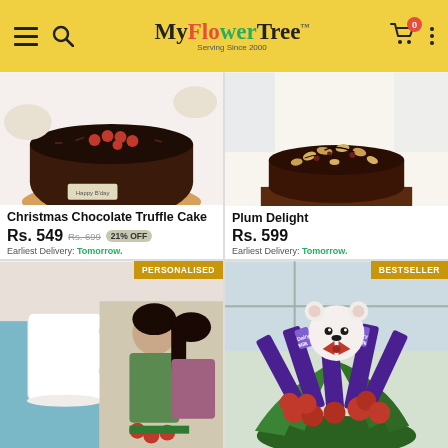[Figure (screenshot): MyFlowerTree app header with hamburger menu, search icon, logo, cart with badge 0, and more options dots on yellow background]
[Figure (photo): Christmas Chocolate Truffle Cake - dark chocolate cake with red cherries on top]
Christmas Chocolate Truffle Cake
Rs. 549 Rs. 699 21% OFF
Earliest Delivery: Tomorrow.
[Figure (photo): Plum Delight - chocolate cake with cashews and dried fruits on a golden doily]
Plum Delight
Rs. 599
Earliest Delivery: Tomorrow.
[Figure (photo): Personalised mug with couple photo - white mug and romantic couple image]
[Figure (photo): Bestseller - Bouquet with red roses, Cadbury Dairy Milk chocolates and a white teddy bear]